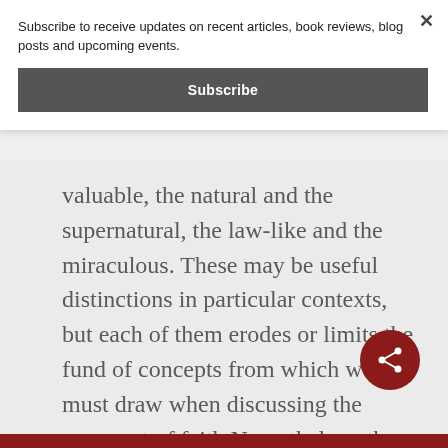Subscribe to receive updates on recent articles, book reviews, blog posts and upcoming events.
Subscribe
valuable, the natural and the supernatural, the law-like and the miraculous. These may be useful distinctions in particular contexts, but each of them erodes or limits the fund of concepts from which we must draw when discussing the covenant of faith Nevertheless, the ODD interpretation accepts at least some of them. With